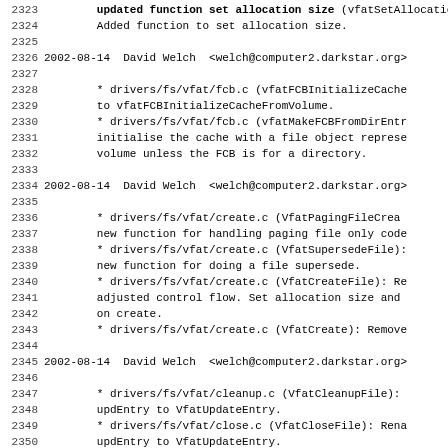Changelog/commit log excerpt, lines 2323-2355, showing Git-style changelog entries for drivers/fs/vfat files by David Welch.